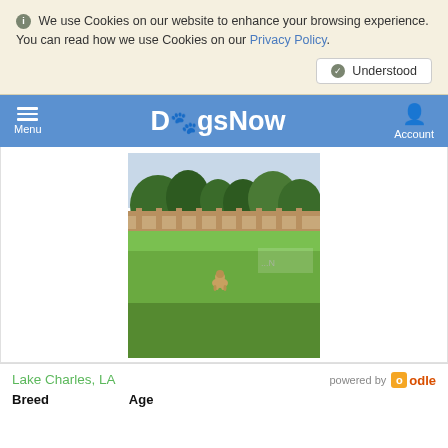We use Cookies on our website to enhance your browsing experience. You can read how we use Cookies on our Privacy Policy.
Understood
DogsNow — Menu | Account
[Figure (photo): A dog standing in a grassy backyard with trees and a wooden fence in the background, viewed from a distance.]
Lake Charles, LA
powered by oodle
Breed   Age